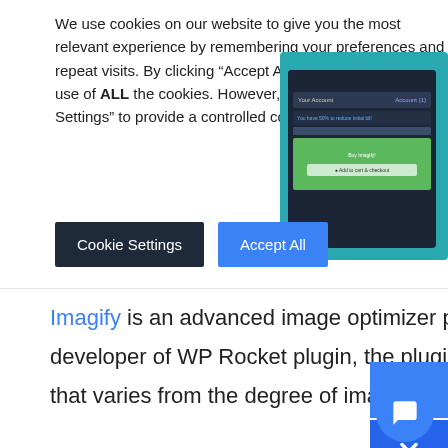We use cookies on our website to give you the most relevant experience by remembering your preferences and repeat visits. By clicking “Accept All”, you consent to the use of ALL the cookies. However, you may visit “Cookie Settings” to provide a controlled consent.
[Figure (screenshot): Screenshot of a WordPress plugin account/notification UI on a teal background]
Cookie Settings
Accept All
Imagify is an advanced image optimizer plugin for WordPress. Launched by the developer of WP Rocket plugin, the plugin comes with 3 different image compression that varies from the degree of image size and change in quality. Besides, the plugin